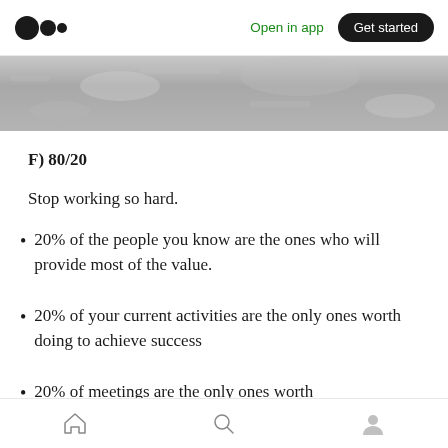Medium logo | Open in app | Get started
[Figure (photo): Grainy gray textured surface, partial view of a rocky or concrete background]
F) 80/20
Stop working so hard.
20% of the people you know are the ones who will provide most of the value.
20% of your current activities are the only ones worth doing to achieve success
20% of meetings are the only ones worth
Home | Search | Profile